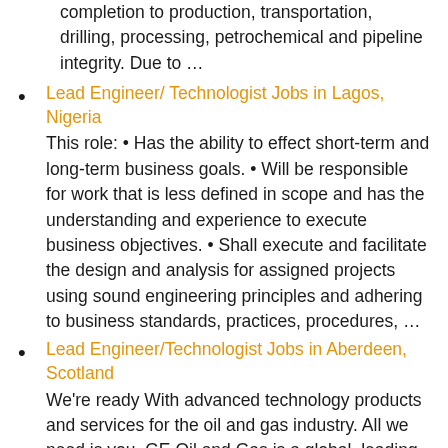completion to production, transportation, drilling, processing, petrochemical and pipeline integrity. Due to …
Lead Engineer/ Technologist Jobs in Lagos, Nigeria
This role: • Has the ability to effect short-term and long-term business goals. • Will be responsible for work that is less defined in scope and has the understanding and experience to execute business objectives. • Shall execute and facilitate the design and analysis for assigned projects using sound engineering principles and adhering to business standards, practices, procedures, …
Lead Engineer/Technologist Jobs in Aberdeen, Scotland
We're ready With advanced technology products and services for the oil and gas industry. All we need is you. GE Oil and Gas is a global, leading supplier of technology-based equipment and services for the